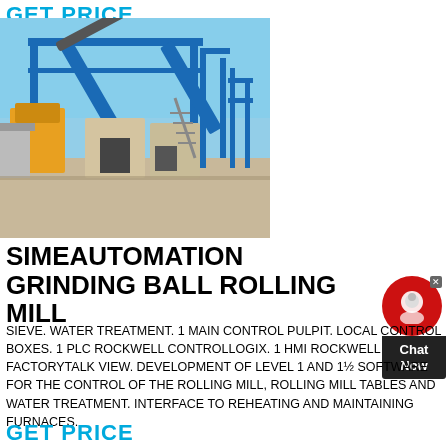GET PRICE
[Figure (photo): Industrial grinding ball rolling mill machinery with blue steel frame structures, yellow crusher, beige hoppers, on a construction site with sandy ground and blue sky]
SIMEAUTOMATION GRINDING BALL ROLLING MILL
SIEVE. WATER TREATMENT. 1 MAIN CONTROL PULPIT. LOCAL CONTROL BOXES. 1 PLC ROCKWELL CONTROLLOGIX. 1 HMI ROCKWELL FACTORYTALK VIEW. DEVELOPMENT OF LEVEL 1 AND 1½ SOFTWARE FOR THE CONTROL OF THE ROLLING MILL, ROLLING MILL TABLES AND WATER TREATMENT. INTERFACE TO REHEATING AND MAINTAINING FURNACES.
GET PRICE